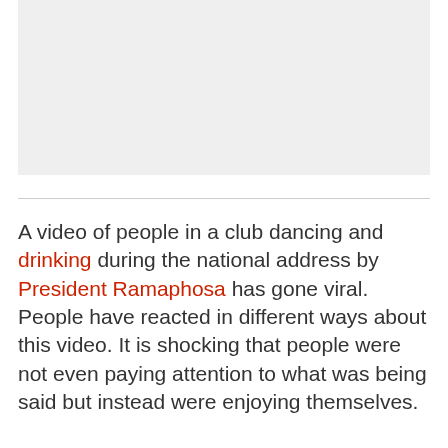[Figure (photo): Gray placeholder image area at top of page]
A video of people in a club dancing and drinking during the national address by President Ramaphosa has gone viral. People have reacted in different ways about this video. It is shocking that people were not even paying attention to what was being said but instead were enjoying themselves.